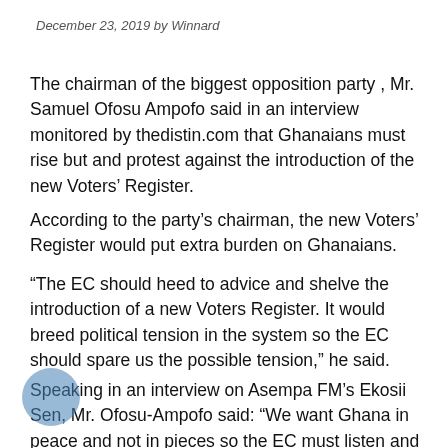December 23, 2019 by Winnard
The chairman of the biggest opposition party , Mr. Samuel Ofosu Ampofo said in an interview monitored by thedistin.com that Ghanaians must rise but and protest against the introduction of the new Voters’ Register.
According to the party’s chairman, the new Voters’ Register would put extra burden on Ghanaians.
“The EC should heed to advice and shelve the introduction of a new Voters Register. It would breed political tension in the system so the EC should spare us the possible tension,” he said.
Speaking in an interview on Asempa FM’s Ekosii Sen, Mr. Ofosu-Ampofo said: “We want Ghana in peace and not in pieces so the EC must listen and tread cautiously.